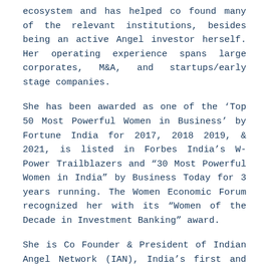ecosystem and has helped co found many of the relevant institutions, besides being an active Angel investor herself. Her operating experience spans large corporates, M&A, and startups/early stage companies.
She has been awarded as one of the ‘Top 50 Most Powerful Women in Business’ by Fortune India for 2017, 2018 2019, & 2021, is listed in Forbes India’s W- Power Trailblazers and “30 Most Powerful Women in India” by Business Today for 3 years running. The Women Economic Forum recognized her with its “Women of the Decade in Investment Banking” award.
She is Co Founder & President of Indian Angel Network (IAN), India’s first and now possibly one